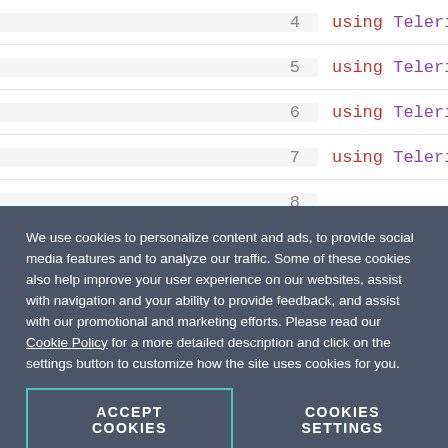[Figure (screenshot): Code editor showing C# code lines 4-14 with syntax highlighting. Line numbers on left, code on right. Lines: 4: using Telerik.Sitefinity.Abstr, 5: using Telerik.Sitefinity.Local, 6: using Telerik.Sitefinity.Modul, 7: using Telerik.Sitefinity.Pages, 8: (empty), 9: namespace SitefinityWebApp, 10: {, 11: public class Global : Syst, 12: {, 13: (empty), 14: protected void Applica]
We use cookies to personalize content and ads, to provide social media features and to analyze our traffic. Some of these cookies also help improve your user experience on our websites, assist with navigation and your ability to provide feedback, and assist with our promotional and marketing efforts. Please read our Cookie Policy for a more detailed description and click on the settings button to customize how the site uses cookies for you.
ACCEPT COOKIES
COOKIES SETTINGS